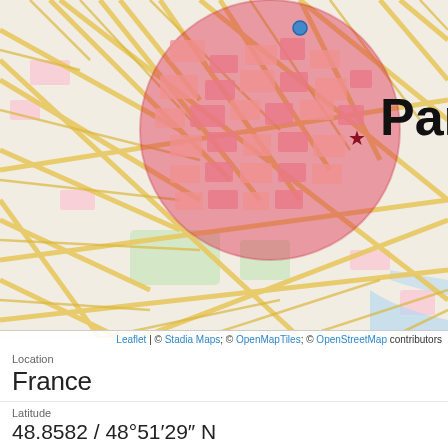[Figure (map): Street map of Paris, France showing a circular red highlighted area over central Paris. The map shows streets in yellow/tan on a light background. A dark red star marker is visible inside the circle. The label 'Paris' appears in large bold black text to the right of the circle.]
Leaflet | © Stadia Maps; © OpenMapTiles; © OpenStreetMap contributors
Location
France
Latitude
48.8582 / 48°51′29″ N
Longitude
2.3387 / 2°20′19″ E
Timezone
Europe/Paris
Local Time
2022-08-20 13:19:19 | 02:00